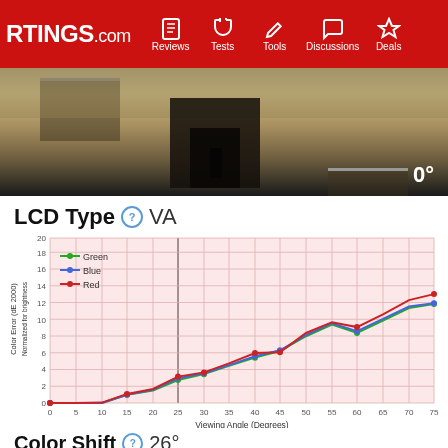RTINGS.com | Reviews | Tests | Tools | Discussions | Deals
[Figure (photo): A classroom-like room viewed from an angle, with tables, chairs, a dark TV or monitor, and sandy floor. Shows 0° viewing angle label.]
LCD Type ? VA
[Figure (line-chart): Color Error (dE 2000) Normalized for brightness vs Viewing Angle]
Color Shift ? 26°